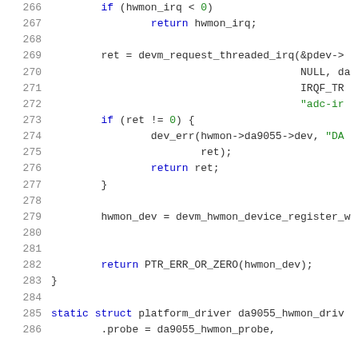Code listing lines 266-286: C source code for Linux kernel hwmon driver (da9055)